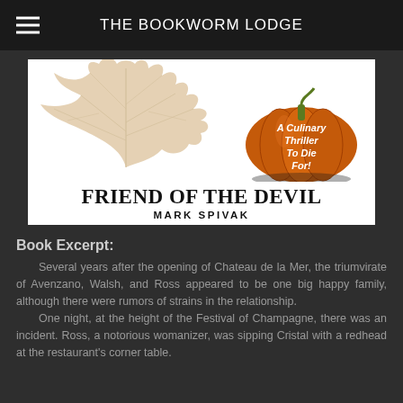THE BOOKWORM LODGE
[Figure (illustration): Book cover for 'Friend of the Devil' by Mark Spivak. Shows a pumpkin with text 'A Culinary Thriller To Die For!' overlaid, autumn maple leaves on a white background, with the title 'FRIEND OF THE DEVIL' and author name 'MARK SPIVAK' at the bottom.]
Book Excerpt:
Several years after the opening of Chateau de la Mer, the triumvirate of Avenzano, Walsh, and Ross appeared to be one big happy family, although there were rumors of strains in the relationship.

One night, at the height of the Festival of Champagne, there was an incident. Ross, a notorious womanizer, was sipping Cristal with a redhead at the restaurant's corner table.